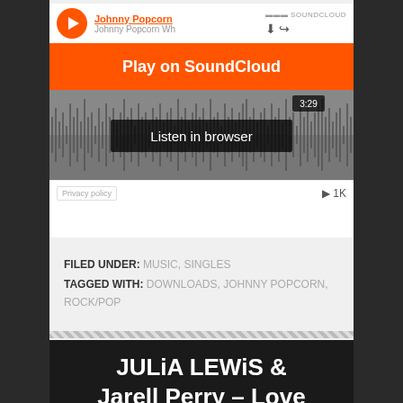[Figure (screenshot): SoundCloud embedded player showing 'Johnny Popcorn' track with Play on SoundCloud orange button, Listen in browser button, waveform display showing 3:29 duration and 1K plays]
FILED UNDER: MUSIC, SINGLES
TAGGED WITH: DOWNLOADS, JOHNNY POPCORN, ROCK/POP
JULiA LEWiS & Jarell Perry – Love You Down (Cover)